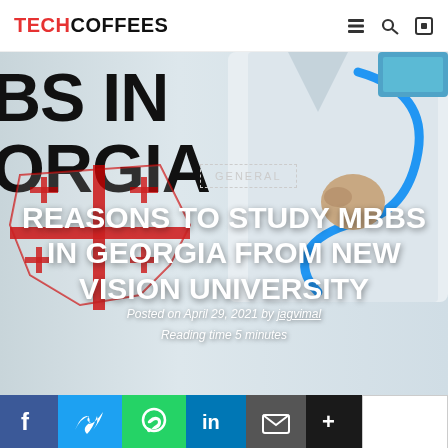TECHCOFFEES
[Figure (photo): Hero image showing a doctor in white coat holding a stethoscope, with overlaid text about MBBS in Georgia and a Georgia flag/map graphic in the lower left]
GENERAL
REASONS TO STUDY MBBS IN GEORGIA FROM NEW VISION UNIVERSITY
Posted on April 29, 2021 by jagvimal
Reading time 5 minutes
f  Twitter  WhatsApp  in  Email  +